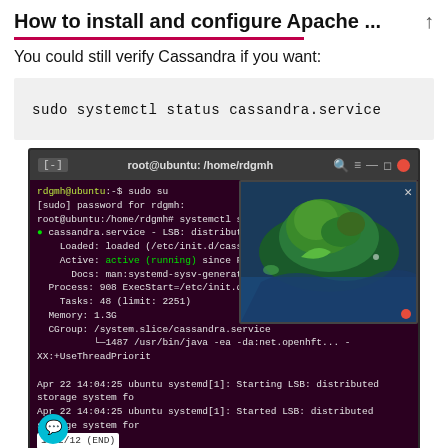How to install and configure Apache ...
You could still verify Cassandra if you want:
[Figure (screenshot): Terminal window showing output of 'systemctl status cassandra.service' command, with Cassandra service shown as active (running). An island aerial photo video overlay appears top-right of the terminal.]
Cassandra running